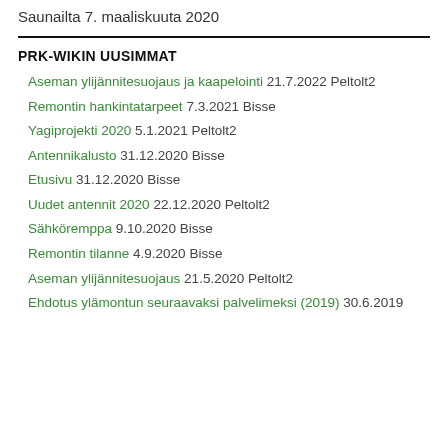Saunailta 7. maaliskuuta 2020
PRK-WIKIN UUSIMMAT
Aseman ylijännitesuojaus ja kaapelointi 21.7.2022 Peltolt2
Remontin hankintatarpeet 7.3.2021 Bisse
Yagiprojekti 2020 5.1.2021 Peltolt2
Antennikalusto 31.12.2020 Bisse
Etusivu 31.12.2020 Bisse
Uudet antennit 2020 22.12.2020 Peltolt2
Sähköremppa 9.10.2020 Bisse
Remontin tilanne 4.9.2020 Bisse
Aseman ylijännitesuojaus 21.5.2020 Peltolt2
Ehdotus ylämontun seuraavaksi palvelimeksi (2019) 30.6.2019